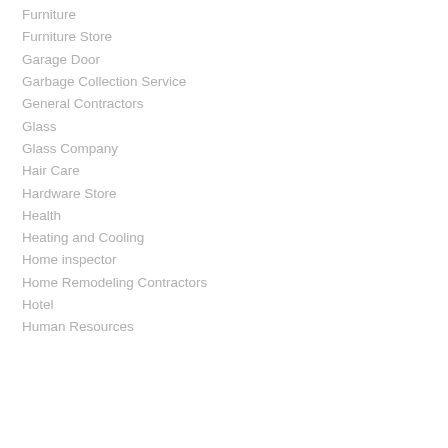Furniture
Furniture Store
Garage Door
Garbage Collection Service
General Contractors
Glass
Glass Company
Hair Care
Hardware Store
Health
Heating and Cooling
Home inspector
Home Remodeling Contractors
Hotel
Human Resources